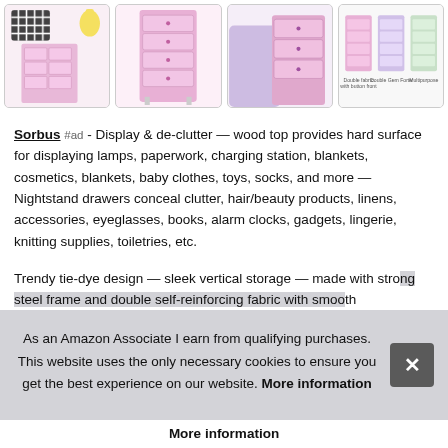[Figure (photo): Four thumbnail images of a pink tie-dye dresser/nightstand with multiple drawers, shown from different angles and settings. Last thumbnail shows multiple color variants side by side.]
Sorbus #ad - Display & de-clutter — wood top provides hard surface for displaying lamps, paperwork, charging station, blankets, cosmetics, blankets, baby clothes, toys, socks, and more — Nightstand drawers conceal clutter, hair/beauty products, linens, accessories, eyeglasses, books, alarm clocks, gadgets, lingerie, knitting supplies, toiletries, etc.
Trendy tie-dye design — sleek vertical storage — made with strong steel frame and double self-reinforcing fabric with smooth white powder-coated finish to protect surfaces — Minimum height recommendations: MINIMUM HEIGHT INCLUDED...
As an Amazon Associate I earn from qualifying purchases. This website uses the only necessary cookies to ensure you get the best experience on our website. More information
More information